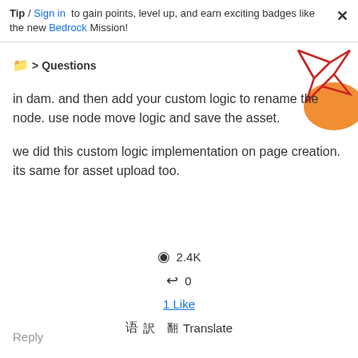Tip / Sign in to gain points, level up, and earn exciting badges like the new Bedrock Mission!
Questions
[Figure (illustration): Decorative geometric graphic with red lines forming diamond/polygon shapes and an orange blob shape, top-right corner]
in dam. and then add your custom logic to rename the node. use node move logic and save the asset.
we did this custom logic implementation on page creation. its same for asset upload too.
👁 2.4K
↩ 0
1 Like
🌐 Translate
Reply